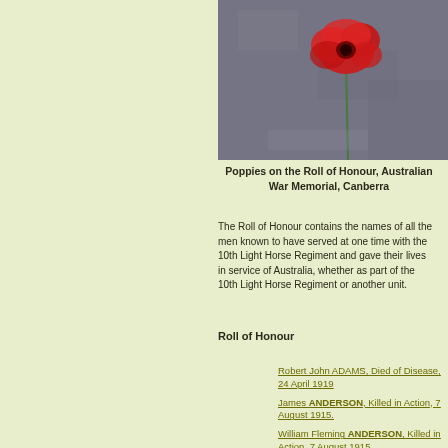[Figure (photo): Close-up photograph of a red poppy placed on the Roll of Honour at the Australian War Memorial, Canberra. Dark stone background with green poppy stem visible.]
Poppies on the Roll of Honour, Australian War Memorial, Canberra
The Roll of Honour contains the names of all the men known to have served at one time with the 10th Light Horse Regiment and gave their lives in service of Australia, whether as part of the 10th Light Horse Regiment or another unit.
Roll of Honour
Robert John ADAMS, Died of Disease, 24 April 1919
James ANDERSON, Killed in Action, 7 August 1915.
William Fleming ANDERSON, Killed in Action, 7 August 1915.